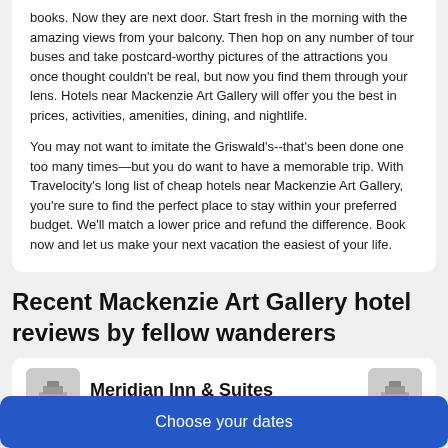books. Now they are next door. Start fresh in the morning with the amazing views from your balcony. Then hop on any number of tour buses and take postcard-worthy pictures of the attractions you once thought couldn't be real, but now you find them through your lens. Hotels near Mackenzie Art Gallery will offer you the best in prices, activities, amenities, dining, and nightlife.
You may not want to imitate the Griswald's--that's been done one too many times—but you do want to have a memorable trip. With Travelocity's long list of cheap hotels near Mackenzie Art Gallery, you're sure to find the perfect place to stay within your preferred budget. We'll match a lower price and refund the difference. Book now and let us make your next vacation the easiest of your life.
Recent Mackenzie Art Gallery hotel reviews by fellow wanderers
Meridian Inn & Suites
Choose your dates